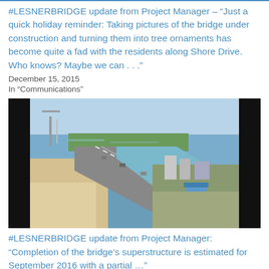#LESNERBRIDGE update from Project Manager – "Just a quick holiday reminder: Taking pictures of the bridge under construction and turning them into tree ornaments has become quite a fad with the residents along Shore Drive. Who knows? Maybe we can . . ."
December 15, 2015
In "Communications"
[Figure (photo): Aerial or elevated photograph of Lesner Bridge under construction, showing the completed roadway spanning water with sandy beach on the left, water/bay in the background, and a developed commercial area on the right.]
#LESNERBRIDGE update from Project Manager: “Completion of the bridge’s superstructure is estimated for September 2016 with a partial …”
June 14, 2016
In "LESNER BRIDGE"